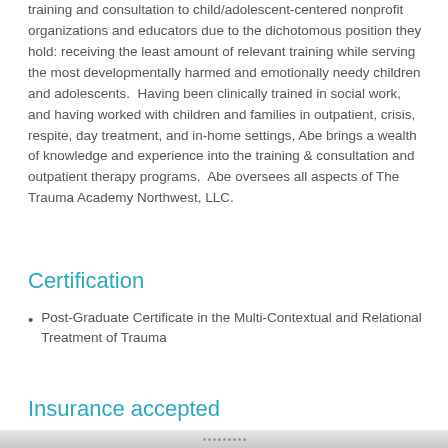training and consultation to child/adolescent-centered nonprofit organizations and educators due to the dichotomous position they hold: receiving the least amount of relevant training while serving the most developmentally harmed and emotionally needy children and adolescents.  Having been clinically trained in social work, and having worked with children and families in outpatient, crisis, respite, day treatment, and in-home settings, Abe brings a wealth of knowledge and experience into the training & consultation and outpatient therapy programs.  Abe oversees all aspects of The Trauma Academy Northwest, LLC.
Certification
Post-Graduate Certificate in the Multi-Contextual and Relational Treatment of Trauma
Insurance accepted